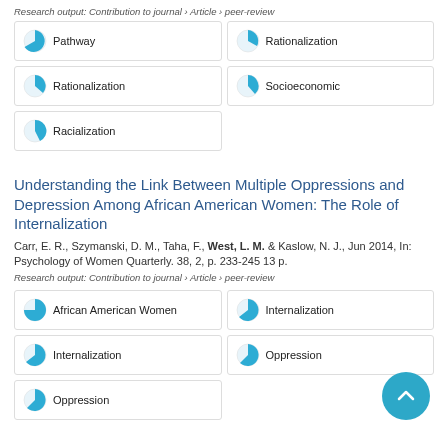Research output: Contribution to journal › Article › peer-review
Pathway
Rationalization
Rationalization
Socioeconomic
Racialization
Understanding the Link Between Multiple Oppressions and Depression Among African American Women: The Role of Internalization
Carr, E. R., Szymanski, D. M., Taha, F., West, L. M. & Kaslow, N. J., Jun 2014, In: Psychology of Women Quarterly. 38, 2, p. 233-245 13 p.
Research output: Contribution to journal › Article › peer-review
African American Women
Internalization
Internalization
Oppression
Oppression